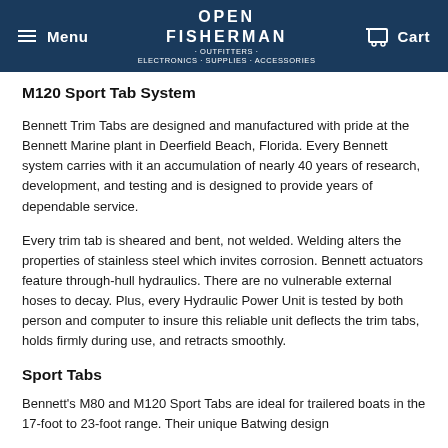Menu | OPEN FISHERMAN OUTFITTERS · ELECTRONICS · SUPPLIES · ACCESSORIES | Cart
M120 Sport Tab System
Bennett Trim Tabs are designed and manufactured with pride at the Bennett Marine plant in Deerfield Beach, Florida. Every Bennett system carries with it an accumulation of nearly 40 years of research, development, and testing and is designed to provide years of dependable service.
Every trim tab is sheared and bent, not welded. Welding alters the properties of stainless steel which invites corrosion. Bennett actuators feature through-hull hydraulics. There are no vulnerable external hoses to decay. Plus, every Hydraulic Power Unit is tested by both person and computer to insure this reliable unit deflects the trim tabs, holds firmly during use, and retracts smoothly.
Sport Tabs
Bennett's M80 and M120 Sport Tabs are ideal for trailered boats in the 17-foot to 23-foot range. Their unique Batwing design